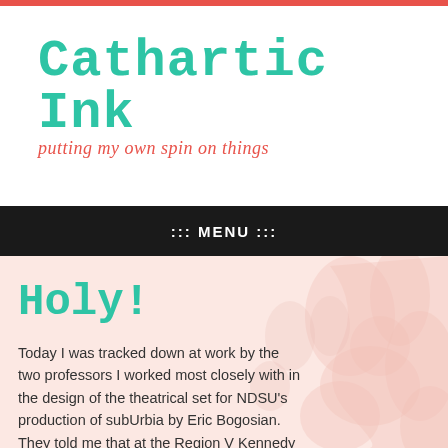Cathartic Ink
putting my own spin on things
::: MENU :::
Holy!
Today I was tracked down at work by the two professors I worked most closely with in the design of the theatrical set for NDSU's production of subUrbia by Eric Bogosian. They told me that at the Region V Kennedy Center American